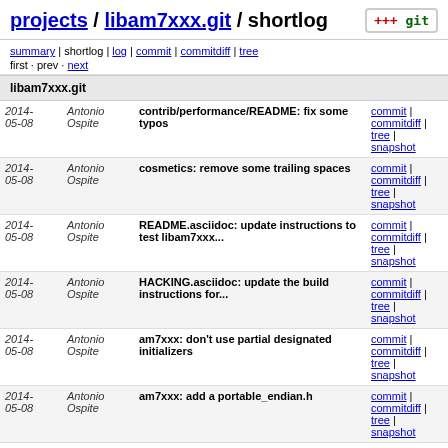projects / libam7xxx.git / shortlog
summary | shortlog | log | commit | commitdiff | tree
first · prev · next
libam7xxx.git
| Date | Author | Commit message | Links |
| --- | --- | --- | --- |
| 2014-05-08 | Antonio Ospite | contrib/performance/README: fix some typos | commit | commitdiff | tree | snapshot |
| 2014-05-08 | Antonio Ospite | cosmetics: remove some trailing spaces | commit | commitdiff | tree | snapshot |
| 2014-05-08 | Antonio Ospite | README.asciidoc: update instructions to test libam7xxx... | commit | commitdiff | tree | snapshot |
| 2014-05-08 | Antonio Ospite | HACKING.asciidoc: update the build instructions for... | commit | commitdiff | tree | snapshot |
| 2014-05-08 | Antonio Ospite | am7xxx: don't use partial designated initializers | commit | commitdiff | tree | snapshot |
| 2014-05-08 | Antonio Ospite | am7xxx: add a portable_endian.h | commit | commitdiff | tree | snapshot |
| 2014-05-07 | Antonio Ospite | Merge branch 'zoom-tele-picopix' | commit | commitdiff | tree | snapshot |
| 2014-... | Antonio Ospite | ... | commit |